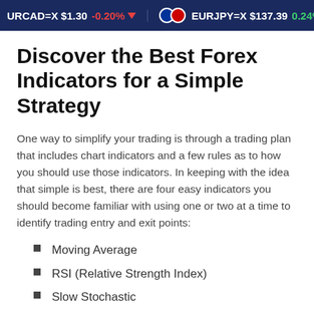URCAD=X $1.30 -0.20% ▼   EURJPY=X $137.39 0.24% ▲
Discover the Best Forex Indicators for a Simple Strategy
One way to simplify your trading is through a trading plan that includes chart indicators and a few rules as to how you should use those indicators. In keeping with the idea that simple is best, there are four easy indicators you should become familiar with using one or two at a time to identify trading entry and exit points:
Moving Average
RSI (Relative Strength Index)
Slow Stochastic